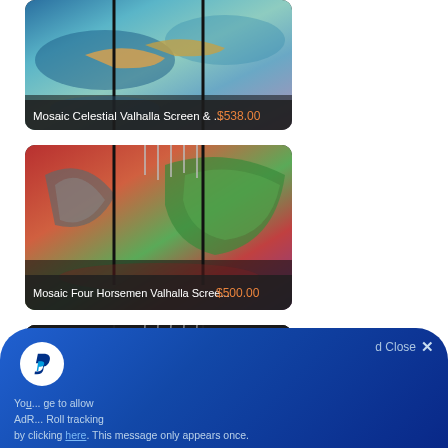[Figure (photo): Product card: Mosaic Celestial Valhalla Screen artwork with ocean creatures and colorful fantasy scene, priced at $538.00]
[Figure (photo): Product card: Mosaic Four Horsemen Valhalla Screen artwork with bold reds, greens, and blues, priced at $500.00]
[Figure (photo): Product card: Third mosaic screen product, partially visible, dark background]
You... age to allow AdR... Roll tracking by clicking here. This message only appears once.